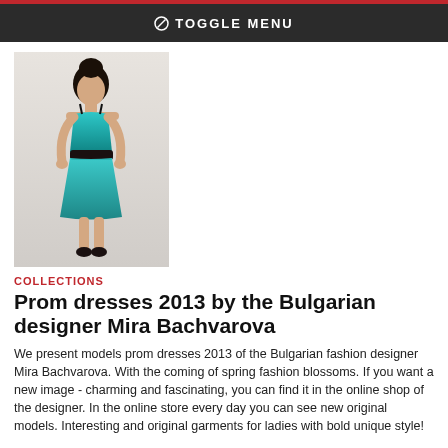⊘ TOGGLE MENU
[Figure (photo): Woman wearing a teal/turquoise prom dress with black belt, posing with hands on hips, dark updo hairstyle]
COLLECTIONS
Prom dresses 2013 by the Bulgarian designer Mira Bachvarova
We present models prom dresses 2013 of the Bulgarian fashion designer Mira Bachvarova. With the coming of spring fashion blossoms. If you want a new image - charming and fascinating, you can find it in the online shop of the designer. In the online store every day you can see new original models. Interesting and original garments for ladies with bold unique style!